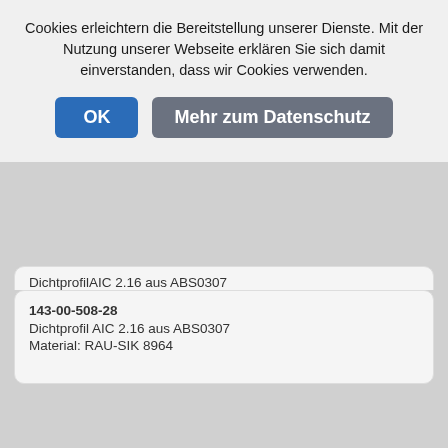Cookies erleichtern die Bereitstellung unserer Dienste. Mit der Nutzung unserer Webseite erklären Sie sich damit einverstanden, dass wir Cookies verwenden.
OK | Mehr zum Datenschutz
DichtprofilAIC 2.16 aus ABS0307
Material: RAU-SIK 8964
143-00-508-28
Dichtprofil AIC 2.16 aus ABS0307
Material: RAU-SIK 8964